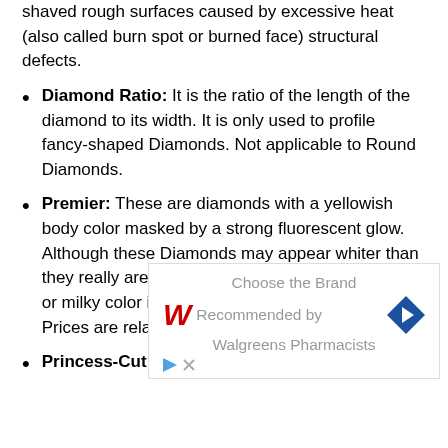shaved rough surfaces caused by excessive heat (also called burn spot or burned face) structural defects.
Diamond Ratio: It is the ratio of the length of the diamond to its width. It is only used to profile fancy-shaped Diamonds. Not applicable to Round Diamonds.
Premier: These are diamonds with a yellowish body color masked by a strong fluorescent glow. Although these Diamonds may appear whiter than they really are, they are oil-colored or a dim color or milky color in daylight or Fluorescent glow. Prices are relatively lower.
Princess-Cut: Normally, they are square-shaped
[Figure (infographic): Advertisement banner for Walgreens: 'Choose the Brand Recommended by Walgreens Pharmacists' with Walgreens logo and navigation arrow icon]